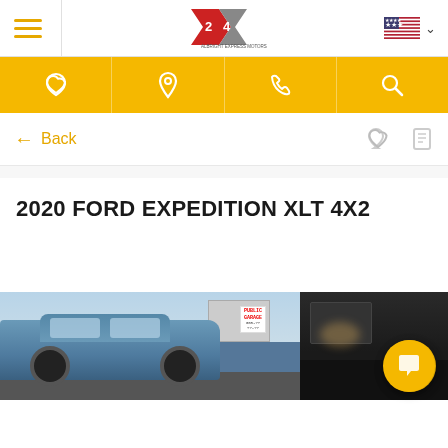Navigation header with hamburger menu, dealership logo, and US flag language selector
[Figure (screenshot): Yellow navigation bar with four icons: heart (favorites), location pin, phone, and search]
← Back
2020 FORD EXPEDITION XLT 4X2
[Figure (photo): Street-level photo of a blue Ford Expedition SUV parked near a Public Garage sign, with another darker vehicle visible to the right]